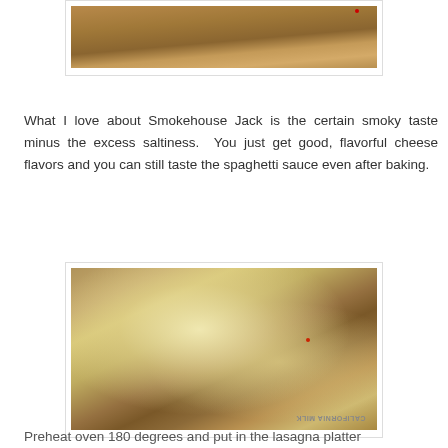[Figure (photo): Top portion of a food photo showing a dish with meat and sauce in a glass baking dish, partially visible at the top of the page]
What I love about Smokehouse Jack is the certain smoky taste minus the excess saltiness.  You just get good, flavorful cheese flavors and you can still taste the spaghetti sauce even after baking.
[Figure (photo): A glass baking dish filled with a baked pasta or rice dish topped with melted shredded cheese, placed on a wooden cutting board. A California Milk stamp is visible on the board.]
Preheat oven 180 degrees and put in the lasagna platter